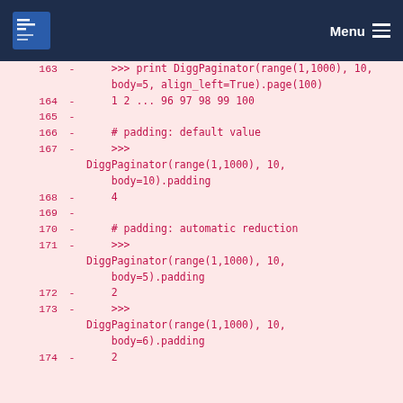Menu
163  -      >>> print DiggPaginator(range(1,1000), 10, body=5, align_left=True).page(100)
164  -      1 2 ... 96 97 98 99 100
165  -
166  -      # padding: default value
167  -      >>> DiggPaginator(range(1,1000), 10, body=10).padding
168  -      4
169  -
170  -      # padding: automatic reduction
171  -      >>> DiggPaginator(range(1,1000), 10, body=5).padding
172  -      2
173  -      >>> DiggPaginator(range(1,1000), 10, body=6).padding
174  -      2